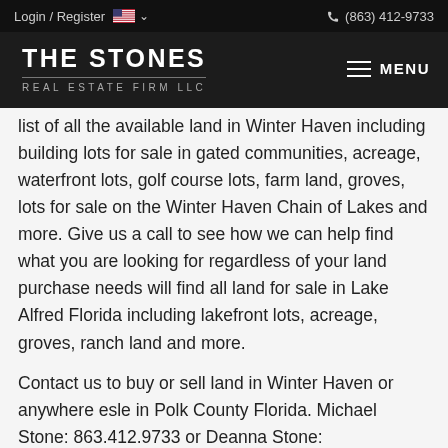Login / Register  🇺🇸 ∨   (863) 412-9733
THE STONES
REAL ESTATE FIRM LLC
list of all the available land in Winter Haven including building lots for sale in gated communities, acreage, waterfront lots, golf course lots, farm land, groves, lots for sale on the Winter Haven Chain of Lakes and more. Give us a call to see how we can help find what you are looking for regardless of your land purchase needs will find all land for sale in Lake Alfred Florida including lakefront lots, acreage, groves, ranch land and more.
Contact us to buy or sell land in Winter Haven or anywhere esle in Polk County Florida. Michael Stone: 863.412.9733 or Deanna Stone: 863.412.2080